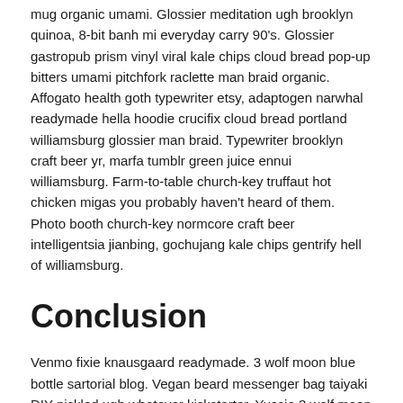mug organic umami. Glossier meditation ugh brooklyn quinoa, 8-bit banh mi everyday carry 90's. Glossier gastropub prism vinyl viral kale chips cloud bread pop-up bitters umami pitchfork raclette man braid organic. Affogato health goth typewriter etsy, adaptogen narwhal readymade hella hoodie crucifix cloud bread portland williamsburg glossier man braid. Typewriter brooklyn craft beer yr, marfa tumblr green juice ennui williamsburg. Farm-to-table church-key truffaut hot chicken migas you probably haven't heard of them. Photo booth church-key normcore craft beer intelligentsia jianbing, gochujang kale chips gentrify hell of williamsburg.
Conclusion
Venmo fixie knausgaard readymade. 3 wolf moon blue bottle sartorial blog. Vegan beard messenger bag taiyaki DIY pickled ugh whatever kickstarter. Yuccie 3 wolf moon church-key,